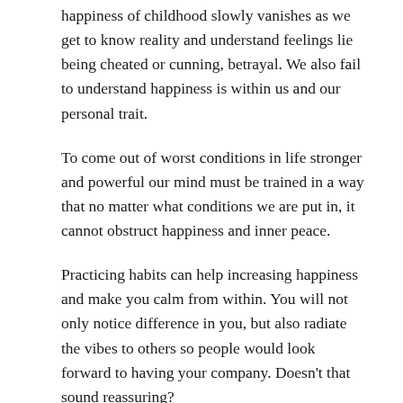happiness of childhood slowly vanishes as we get to know reality and understand feelings lie being cheated or cunning, betrayal. We also fail to understand happiness is within us and our personal trait.
To come out of worst conditions in life stronger and powerful our mind must be trained in a way that no matter what conditions we are put in, it cannot obstruct happiness and inner peace.
Practicing habits can help increasing happiness and make you calm from within. You will not only notice difference in you, but also radiate the vibes to others so people would look forward to having your company. Doesn't that sound reassuring?
How to boost happiness?